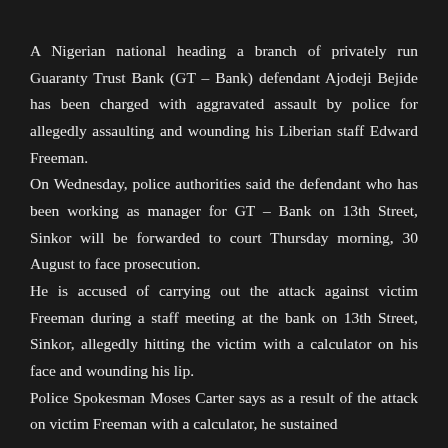A Nigerian national heading a branch of privately run Guaranty Trust Bank (GT – Bank) defendant Ajodeji Bejide has been charged with aggravated assault by police for allegedly assaulting and wounding his Liberian staff Edward Freeman.
On Wednesday, police authorities said the defendant who has been working as manager for GT – Bank on 13th Street, Sinkor will be forwarded to court Thursday morning, 30 August to face prosecution.
He is accused of carrying out the attack against victim Freeman during a staff meeting at the bank on 13th Street, Sinkor, allegedly hitting the victim with a calculator on his face and wounding his lip.
Police Spokesman Moses Carter says as a result of the attack on victim Freeman with a calculator, he sustained